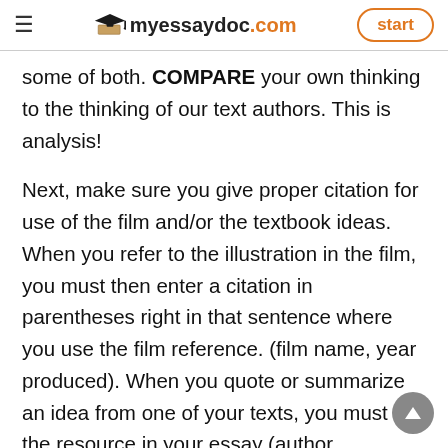myessaydoc.com  start
some of both. COMPARE your own thinking to the thinking of our text authors. This is analysis!
Next, make sure you give proper citation for use of the film and/or the textbook ideas. When you refer to the illustration in the film, you must then enter a citation in parentheses right in that sentence where you use the film reference. (film name, year produced). When you quote or summarize an idea from one of your texts, you must cite the resource in your essay (author, publication year, page number). At the end of your essay you must list ALL resources used in the essay including the film.